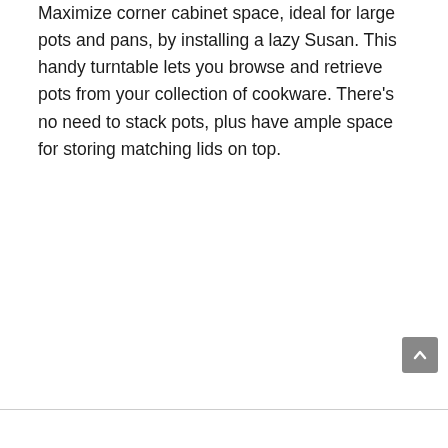Maximize corner cabinet space, ideal for large pots and pans, by installing a lazy Susan. This handy turntable lets you browse and retrieve pots from your collection of cookware. There's no need to stack pots, plus have ample space for storing matching lids on top.